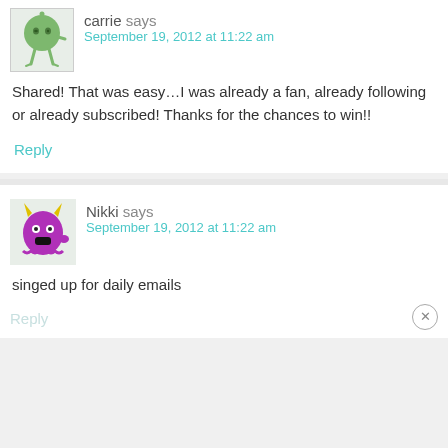[Figure (illustration): Avatar of user carrie: cartoon green round character with stick legs]
carrie says
September 19, 2012 at 11:22 am
Shared! That was easy…I was already a fan, already following or already subscribed! Thanks for the chances to win!!
Reply
[Figure (illustration): Avatar of user Nikki: cartoon purple monster with horns]
Nikki says
September 19, 2012 at 11:22 am
singed up for daily emails
Reply